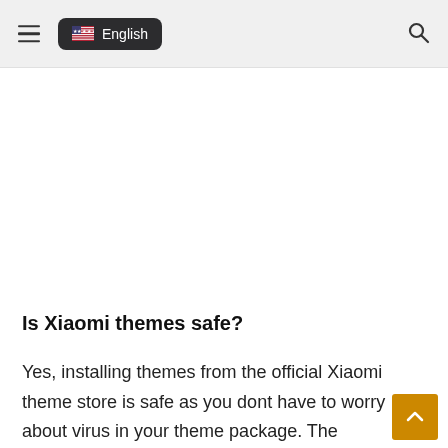English
Is Xiaomi themes safe?
Yes, installing themes from the official Xiaomi theme store is safe as you dont have to worry about virus in your theme package. The Xiaomi